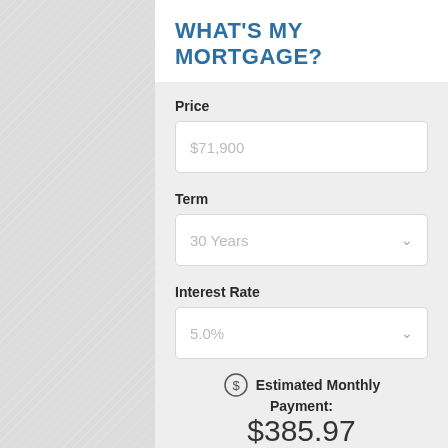WHAT'S MY MORTGAGE?
Price
$71,900
Term
30 Years
Interest Rate
5.0%
Estimated Monthly Payment: $385.97